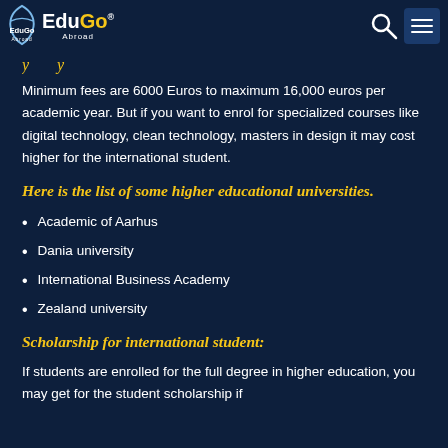EduGo Abroad
Minimum fees are 6000 Euros to maximum 16,000 euros per academic year. But if you want to enrol for specialized courses like digital technology, clean technology, masters in design it may cost higher for the international student.
Here is the list of some higher educational universities.
Academic of Aarhus
Dania university
International Business Academy
Zealand university
Scholarship for international student:
If students are enrolled for the full degree in higher education, you may get for the student scholarship if